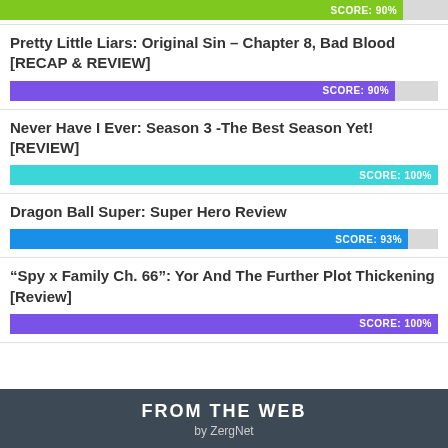[Figure (bar-chart): Score bar (partial, top)]
Pretty Little Liars: Original Sin – Chapter 8, Bad Blood [RECAP & REVIEW]
[Figure (bar-chart): ]
Never Have I Ever: Season 3 -The Best Season Yet! [REVIEW]
[Figure (bar-chart): ]
Dragon Ball Super: Super Hero Review
[Figure (bar-chart): ]
“Spy x Family Ch. 66”: Yor And The Further Plot Thickening [Review]
[Figure (bar-chart): ]
FROM THE WEB
by ZergNet